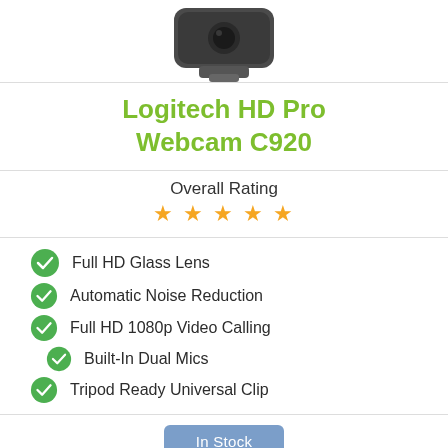[Figure (photo): Logitech HD Pro Webcam C920 product image showing the front/top of the black webcam device]
Logitech HD Pro Webcam C920
Overall Rating ★★★★★
Full HD Glass Lens
Automatic Noise Reduction
Full HD 1080p Video Calling
Built-In Dual Mics
Tripod Ready Universal Clip
In Stock